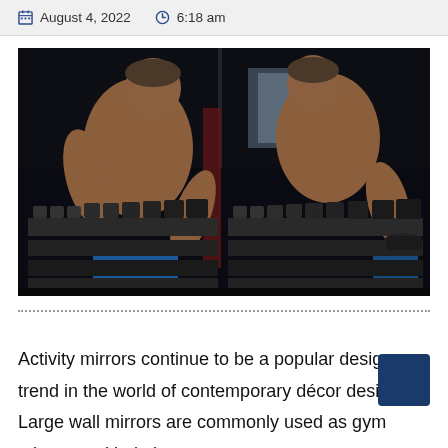August 4, 2022  6:18 am
[Figure (photo): A muscular shirtless man leaning forward picking up dumbbells in a gym, with his reflection visible in a large mirror behind the dumbbell rack. The gym is dark with equipment visible in the background.]
Activity mirrors continue to be a popular design trend in the world of contemporary décor design. Large wall mirrors are commonly used as gym mirrors and help in